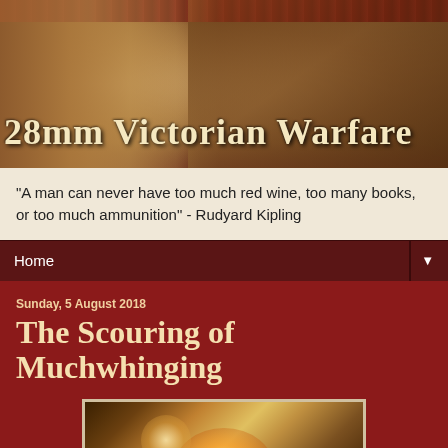[Figure (photo): Blog banner header image showing a Victorian-era man in military uniform reclining, with sepia/dark red toned decorative wallpaper background and the blog title '28mm Victorian Warfare' overlaid in ornate lettering]
"A man can never have too much red wine, too many books, or too much ammunition" - Rudyard Kipling
Home ▼
Sunday, 5 August 2018
The Scouring of Muchwhinging
[Figure (photo): Blurry/out-of-focus photograph showing warm amber and golden tones suggesting fire or candlelight with dark silhouettes in the foreground]